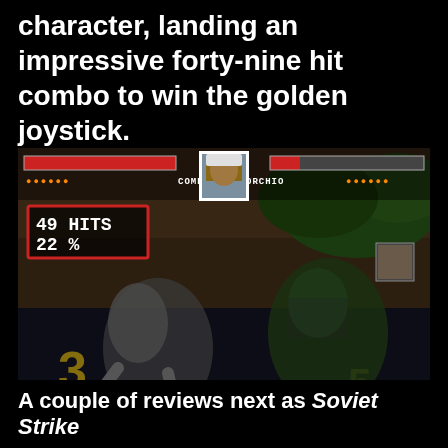character, landing an impressive forty-nine hit combo to win the golden joystick.
[Figure (screenshot): Killer Instinct arcade game screenshot showing a fighting game scene. HUD shows health bars, player names, COMBO text in center, portrait of a man in white cap. A red box displays '49 HITS / 22 %'. Two fighting characters visible on screen.]
A couple of reviews next as Soviet Strike